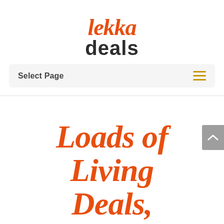[Figure (logo): Lekka Deals logo — 'lekka' in orange cursive script above 'deals' in bold dark charcoal sans-serif]
Select Page
Loads of Living Deals, Specials &